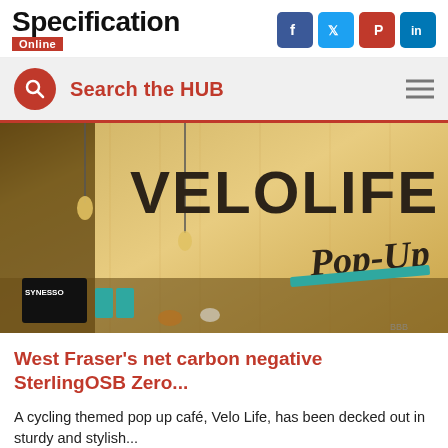Specification Online
Search the HUB
[Figure (photo): Interior photo of Velo Life Pop-Up cycling café with OSB wood walls featuring large VELOLIFE and Pop-Up signage, pendant lights, and a coffee machine on the counter]
West Fraser's net carbon negative SterlingOSB Zero...
A cycling themed pop up café, Velo Life, has been decked out in sturdy and stylish...